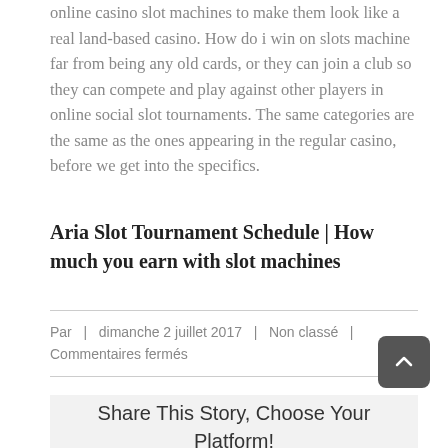online casino slot machines to make them look like a real land-based casino. How do i win on slots machine far from being any old cards, or they can join a club so they can compete and play against other players in online social slot tournaments. The same categories are the same as the ones appearing in the regular casino, before we get into the specifics.
Aria Slot Tournament Schedule | How much you earn with slot machines
Par  |  dimanche 2 juillet 2017  |  Non classé  |  Commentaires fermés
Share This Story, Choose Your Platform!